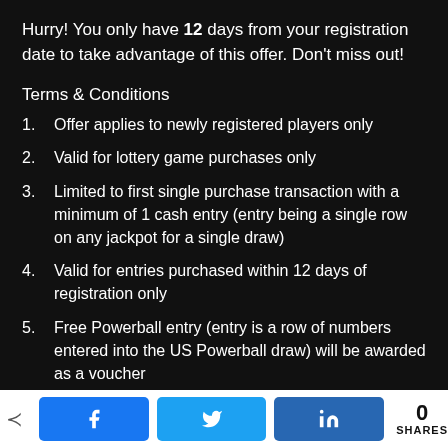Hurry! You only have 12 days from your registration date to take advantage of this offer. Don't miss out!
Terms & Conditions
1. Offer applies to newly registered players only
2. Valid for lottery game purchases only
3. Limited to first single purchase transaction with a minimum of 1 cash entry (entry being a single row on any jackpot for a single draw)
4. Valid for entries purchased within 12 days of registration only
5. Free Powerball entry (entry is a row of numbers entered into the US Powerball draw) will be awarded as a voucher